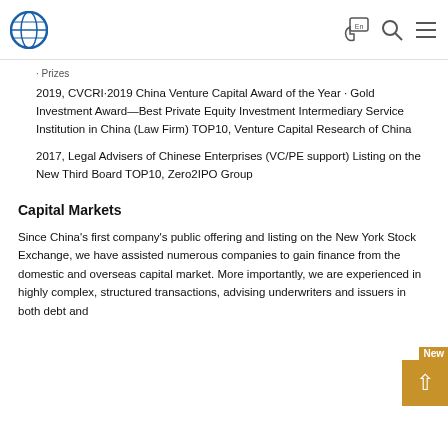Navigation bar with globe logo, language selector (En), search icon, and menu icon
Prizes
2019, CVCRI·2019 China Venture Capital Award of the Year · Gold Investment Award—Best Private Equity Investment Intermediary Service Institution in China (Law Firm) TOP10, Venture Capital Research of China
2017, Legal Advisers of Chinese Enterprises (VC/PE support) Listing on the New Third Board TOP10, Zero2IPO Group
Capital Markets
Since China's first company's public offering and listing on the New York Stock Exchange, we have assisted numerous companies to gain finance from the domestic and overseas capital market. More importantly, we are experienced in highly complex, structured transactions, advising underwriters and issuers in both debt and